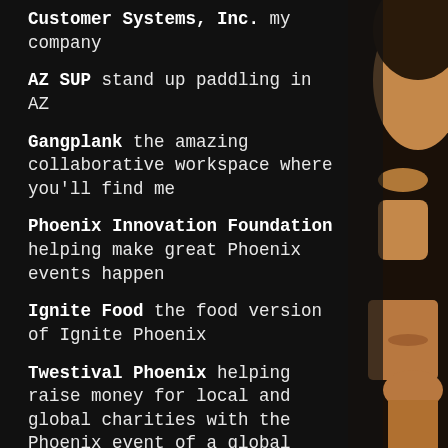Customer Systems, Inc. my company
AZ SUP stand up paddling in AZ
Gangplank the amazing collaborative workspace where you'll find me
Phoenix Innovation Foundation helping make great Phoenix events happen
Ignite Food the food version of Ignite Phoenix
Twestival Phoenix helping raise money for local and global charities with the Phoenix event of a global charity movement
[Figure (photo): Partial face/portrait of a person visible on the right edge of the page against a dark background]